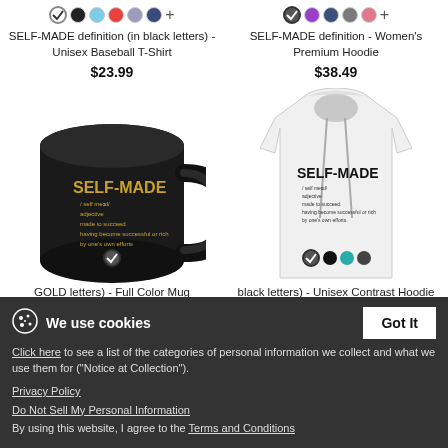SELF-MADE definition (in black letters) - Unisex Baseball T-Shirt
$23.99
SELF-MADE definition - Women's Premium Hoodie
$38.49
[Figure (photo): Black coffee mug with SELF-MADE definition printed in gold letters]
[Figure (photo): White hoodie with SELF-MADE definition printed in black letters]
We use cookies
Got It
Click here to see a list of the categories of personal information we collect and what we use them for ("Notice at Collection").
Privacy Policy
Do Not Sell My Personal Information
By using this website, I agree to the Terms and Conditions
GOLD letters) - Full Color Mug
black letters) - Unisex Contrast Hoodie
$37.99